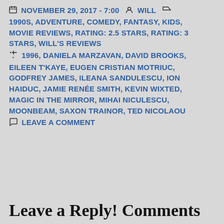NOVEMBER 29, 2017 - 7:00  WILL  1990S, ADVENTURE, COMEDY, FANTASY, KIDS, MOVIE REVIEWS, RATING: 2.5 STARS, RATING: 3 STARS, WILL'S REVIEWS  1996, DANIELA MARZAVAN, DAVID BROOKS, EILEEN T'KAYE, EUGEN CRISTIAN MOTRIUC, GODFREY JAMES, ILEANA SANDULESCU, ION HAIDUC, JAMIE RENÉE SMITH, KEVIN WIXTED, MAGIC IN THE MIRROR, MIHAI NICULESCU, MOONBEAM, SAXON TRAINOR, TED NICOLAOU  LEAVE A COMMENT
Leave a Reply! Comments